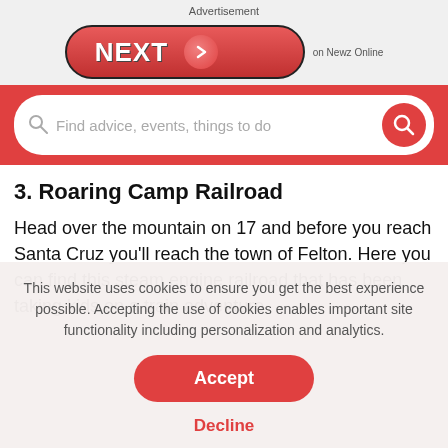Advertisement
[Figure (screenshot): NEXT button advertisement with red pill-shaped button and arrow, labeled 'on Newz Online']
[Figure (screenshot): Red search bar with magnifying glass icon and placeholder text 'Find advice, events, things to do' and red search button]
3. Roaring Camp Railroad
Head over the mountain on 17 and before you reach Santa Cruz you'll reach the town of Felton. Here you can find this steam engine railroad that has been taking kids on a train adventure
This website uses cookies to ensure you get the best experience possible. Accepting the use of cookies enables important site functionality including personalization and analytics.
Accept
Decline